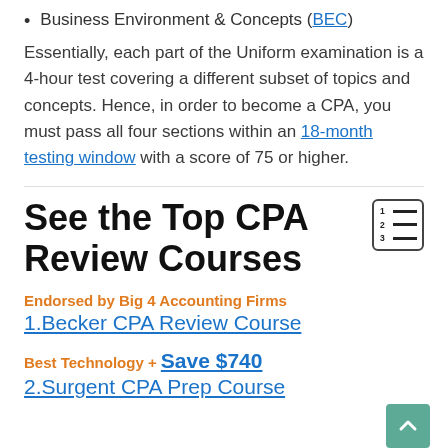Business Environment & Concepts (BEC)
Essentially, each part of the Uniform examination is a 4-hour test covering a different subset of topics and concepts. Hence, in order to become a CPA, you must pass all four sections within an 18-month testing window with a score of 75 or higher.
See the Top CPA Review Courses
Endorsed by Big 4 Accounting Firms
1.Becker CPA Review Course
Best Technology + Save $740
2.Surgent CPA Prep Course